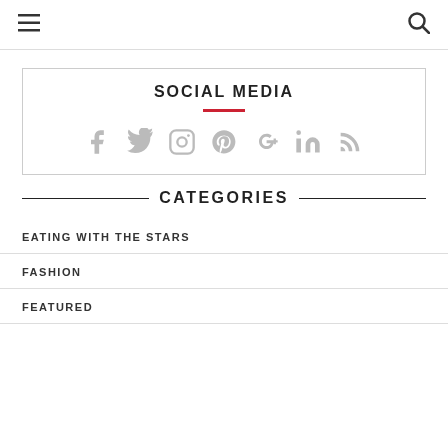≡  🔍
SOCIAL MEDIA
[Figure (illustration): Social media icons: Facebook, Twitter, Instagram, Pinterest, Google+, LinkedIn, RSS feed — all in light gray]
CATEGORIES
EATING WITH THE STARS
FASHION
FEATURED